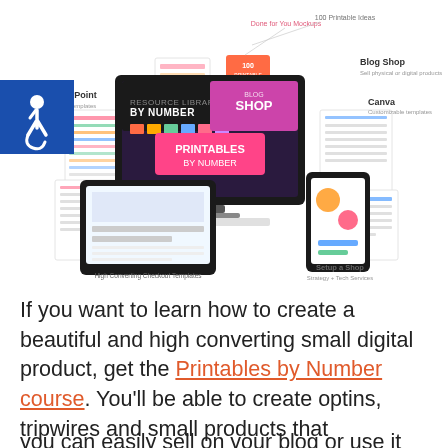[Figure (infographic): Infographic showing digital products ecosystem including PowerPoint templates, Done for You Mockups, 100 Printable Ideas, Blog Shop, Canva customizable templates, Resource Library By Number, Blog Shop screen, Printables By Number, High Converting Checkout Templates, Setup a Shop Strategy + Tech Services. Accessibility icon in top-left corner. Various device mockups (desktop monitor, tablet, phone) surrounded by printable document previews.]
If you want to learn how to create a beautiful and high converting small digital product, get the Printables by Number course. You'll be able to create optins, tripwires and small products that you can easily sell on your blog or use it